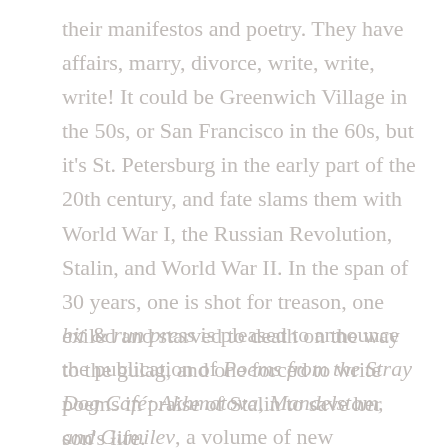their manifestos and poetry. They have affairs, marry, divorce, write, write, write! It could be Greenwich Village in the 50s, or San Francisco in the 60s, but it's St. Petersburg in the early part of the 20th century, and fate slams them with World War I, the Russian Revolution, Stalin, and World War II. In the span of 30 years, one is shot for treason, one exiled and starved to death on the way to the gulag, and one forced to write poems in praise of Stalin to save her son's life.
hit & run press is pleased to announce the publication of Poems from the Stray Dog Café: Akhmatova, Mandelstam, and Gumilev, a volume of new translations of their work by Meryl